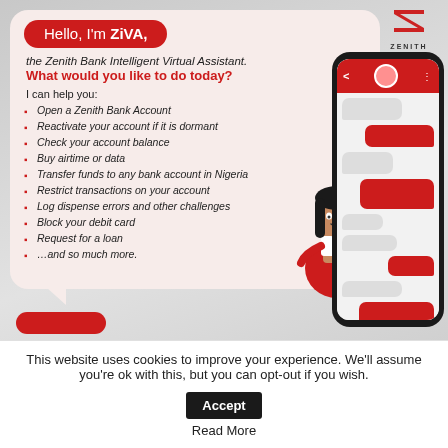[Figure (illustration): Zenith Bank ZiVA virtual assistant advertisement showing a speech bubble with ZiVA greeting, a list of banking services, an animated female character, and a phone mockup showing a chat interface. Zenith Bank logo in top right corner.]
This website uses cookies to improve your experience. We'll assume you're ok with this, but you can opt-out if you wish. Accept
Read More